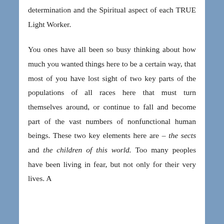determination and the Spiritual aspect of each TRUE Light Worker. You ones have all been so busy thinking about how much you wanted things here to be a certain way, that most of you have lost sight of two key parts of the populations of all races here that must turn themselves around, or continue to fall and become part of the vast numbers of nonfunctional human beings. These two key elements here are – the sects and the children of this world. Too many peoples have been living in fear, but not only for their very lives. A